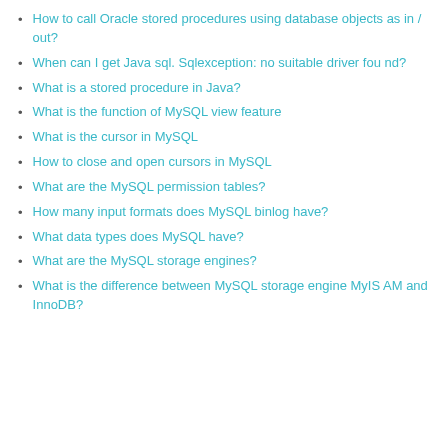How to call Oracle stored procedures using database objects as in / out?
When can I get Java sql. Sqlexception: no suitable driver found?
What is a stored procedure in Java?
What is the function of MySQL view feature
What is the cursor in MySQL
How to close and open cursors in MySQL
What are the MySQL permission tables?
How many input formats does MySQL binlog have?
What data types does MySQL have?
What are the MySQL storage engines?
What is the difference between MySQL storage engine MyISAM and InnoDB?